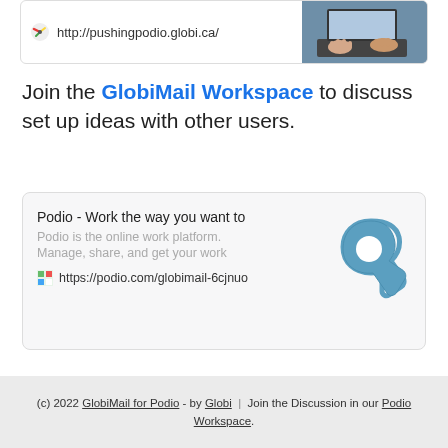[Figure (screenshot): Link card showing http://pushingpodio.globi.ca/ with a small colorful icon, and a photo of hands typing on a laptop keyboard on the right side.]
Join the GlobiMail Workspace to discuss set up ideas with other users.
[Figure (screenshot): Podio link card with title 'Podio - Work the way you want to', description 'Podio is the online work platform. Manage, share, and get your work', URL https://podio.com/globimail-6cjnuo, and the Podio logo (blue P-shaped icon) on the right.]
(c) 2022 GlobiMail for Podio - by Globi  |  Join the Discussion in our Podio Workspace.